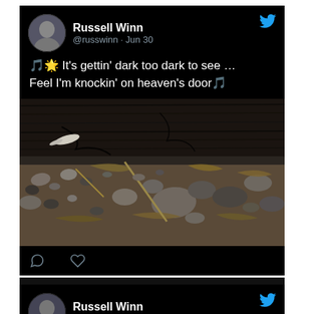[Figure (screenshot): Tweet by Russell Winn (@russwinn) dated Jun 30. Text: 🎵🌟 It's gettin' dark too dark to see … Feel I'm knockin' on heaven's door🎵. Includes a photo of railroad tracks with gravel and dead leaves. Has reply and like icons at bottom.]
[Figure (screenshot): Tweet by Russell Winn (@russwinn) dated Jun 27. Text: 🌟🎵 Gotta do what you can to keep your love alive. Trying not to confuse it with what you do to survive. 🎵]